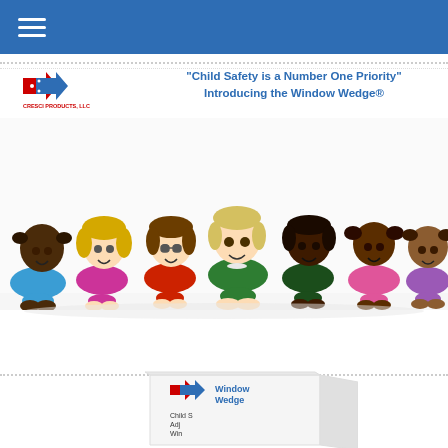Navigation header bar with hamburger menu
[Figure (logo): Cresci Products LLC logo with red and blue chevron/house shape and text 'CRESCI PRODUCTS, LLC']
"Child Safety is a Number One Priority" Introducing the Window Wedge®
[Figure (photo): Seven diverse children lying on their stomachs in a row, smiling at the camera, wearing colorful shirts (blue, pink/magenta, red, green, dark green, pink, purple/lilac)]
[Figure (photo): Window Wedge product box showing logo with red and blue chevron, text 'Window Wedge', 'Child S...', 'Adj...', 'Win...']